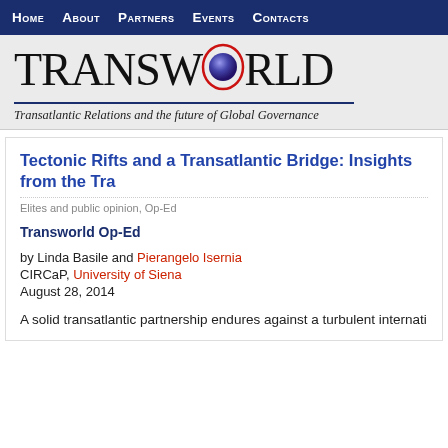Home  About  Partners  Events  Contacts
[Figure (logo): TRANSWORLD logo with a blue-purple globe for the letter O inside a red oval ring, tagline: Transatlantic Relations and the future of Global Governance]
Tectonic Rifts and a Transatlantic Bridge: Insights from the Tra...
Elites and public opinion, Op-Ed
Transworld Op-Ed
by Linda Basile and Pierangelo Isernia
CIRCaP, University of Siena
August 28, 2014
A solid transatlantic partnership endures against a turbulent internati...